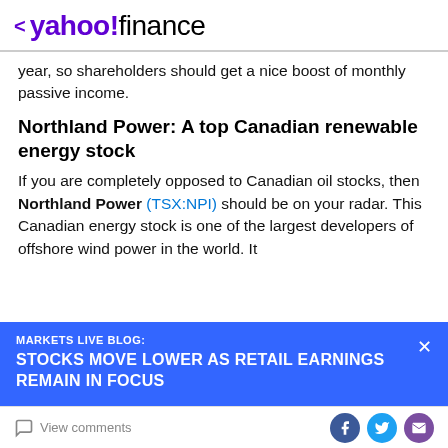< yahoo!finance
year, so shareholders should get a nice boost of monthly passive income.
Northland Power: A top Canadian renewable energy stock
If you are completely opposed to Canadian oil stocks, then Northland Power (TSX:NPI) should be on your radar. This Canadian energy stock is one of the largest developers of offshore wind power in the world. It
MARKETS LIVE BLOG: STOCKS MOVE LOWER AS RETAIL EARNINGS REMAIN IN FOCUS
View comments